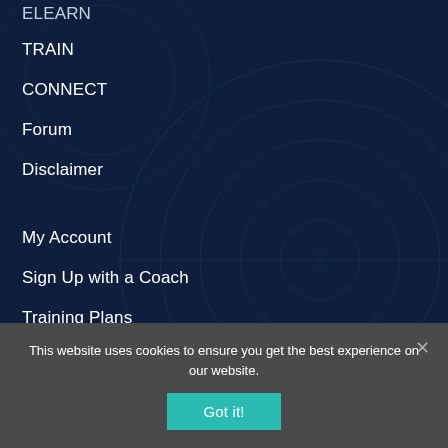ELEARN
TRAIN
CONNECT
Forum
Disclaimer
My Account
Sign Up with a Coach
Training Plans
Training Groups
Schedule a Phone Consultation
This website uses cookies to ensure you get the best experience on our website.
Got it!